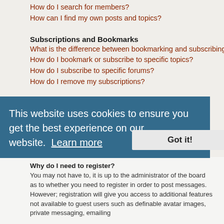How do I search for members?
How can I find my own posts and topics?
Subscriptions and Bookmarks
What is the difference between bookmarking and subscribing?
How do I bookmark or subscribe to specific topics?
How do I subscribe to specific forums?
How do I remove my subscriptions?
Attachments
What attachments are allowed on this board?
How do I find all my attachments?
phpBB Issues
Who wrote this bulletin board?
Why isn't X feature available?
Who do I contact about abusive and/or legal matters related to this board?
How do I contact a board administrator?
This website uses cookies to ensure you get the best experience on our website. Learn more
Got it!
Why do I need to register?
You may not have to, it is up to the administrator of the board as to whether you need to register in order to post messages. However; registration will give you access to additional features not available to guest users such as definable avatar images, private messaging, emailing